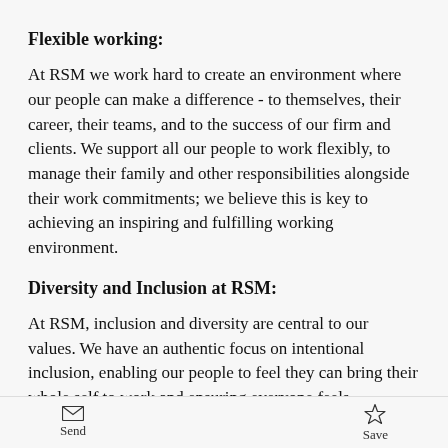Flexible working:
At RSM we work hard to create an environment where our people can make a difference - to themselves, their career, their teams, and to the success of our firm and clients. We support all our people to work flexibly, to manage their family and other responsibilities alongside their work commitments; we believe this is key to achieving an inspiring and fulfilling working environment.
Diversity and Inclusion at RSM:
At RSM, inclusion and diversity are central to our values. We have an authentic focus on intentional inclusion, enabling our people to feel they can bring their whole self to work and ensuring everyone feels
Send   Save